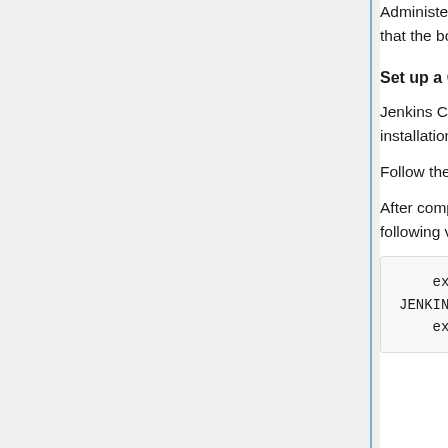Administer credentials from Anonymous Users. Under Agent --> Master Security, make sure that the box Enable Agent → Master Access Control is checked. Save.
Set up a CLI user for Jenkins
Jenkins CLI is used primarily by the Dashboard and Lingobot, but it should be set up at installation time.
Follow the instructions at Set Up Jenkins CLI User
After completing the setup, the $JENKINS_HOME/lingoport/bin/jenkins_cli... should have the following values populated:
export JENKINS_USER=jenkins_cli
    export JENKINS_TOKEN=<a